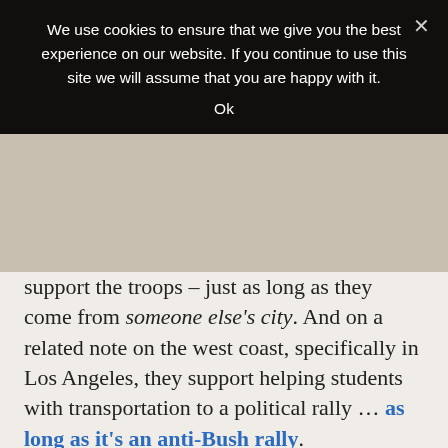We use cookies to ensure that we give you the best experience on our website. If you continue to use this site we will assume that you are happy with it.
Ok
support the troops – just as long as they come from someone else's city. And on a related note on the west coast, specifically in Los Angeles, they support helping students with transportation to a political rally … as long as it's an anti-Bush rally.
SSDD on the left coast. I admire the conservatives there who are fighting the good fight in spite of that steep uphill climb they face in the form of